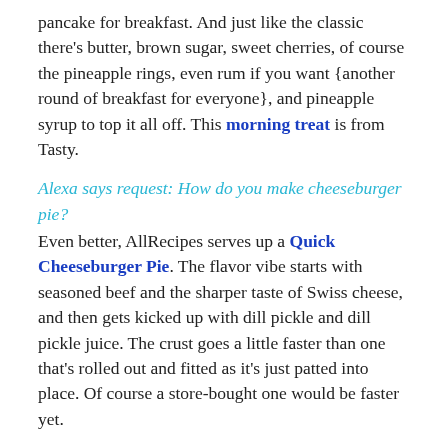pancake for breakfast. And just like the classic there's butter, brown sugar, sweet cherries, of course the pineapple rings, even rum if you want {another round of breakfast for everyone}, and pineapple syrup to top it all off. This morning treat is from Tasty.
Alexa says request: How do you make cheeseburger pie?
Even better, AllRecipes serves up a Quick Cheeseburger Pie. The flavor vibe starts with seasoned beef and the sharper taste of Swiss cheese, and then gets kicked up with dill pickle and dill pickle juice. The crust goes a little faster than one that's rolled out and fitted as it's just patted into place. Of course a store-bought one would be faster yet.
Alexa says request: How do I make a cake bomb?
Oh Tastemade, you are baaaaaaad. Exhibit A? This No-Bake Cookies & Milk Cake Bomb. Yikes, wait till you see it and you'll know exactly what I mean. Btw, if the instructions don't paint a clear picture of the prep, no worries, the